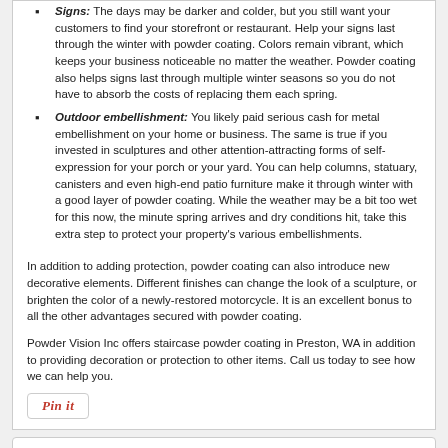Signs: The days may be darker and colder, but you still want your customers to find your storefront or restaurant. Help your signs last through the winter with powder coating. Colors remain vibrant, which keeps your business noticeable no matter the weather. Powder coating also helps signs last through multiple winter seasons so you do not have to absorb the costs of replacing them each spring.
Outdoor embellishment: You likely paid serious cash for metal embellishment on your home or business. The same is true if you invested in sculptures and other attention-attracting forms of self-expression for your porch or your yard. You can help columns, statuary, canisters and even high-end patio furniture make it through winter with a good layer of powder coating. While the weather may be a bit too wet for this now, the minute spring arrives and dry conditions hit, take this extra step to protect your property's various embellishments.
In addition to adding protection, powder coating can also introduce new decorative elements. Different finishes can change the look of a sculpture, or brighten the color of a newly-restored motorcycle. It is an excellent bonus to all the other advantages secured with powder coating.
Powder Vision Inc offers staircase powder coating in Preston, WA in addition to providing decoration or protection to other items. Call us today to see how we can help you.
[Figure (other): Pin it button]
Leave a Reply